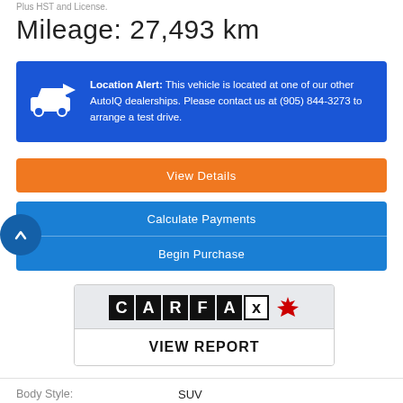Plus HST and License.
Mileage: 27,493 km
Location Alert: This vehicle is located at one of our other AutoIQ dealerships. Please contact us at (905) 844-3273 to arrange a test drive.
View Details
Calculate Payments
Begin Purchase
[Figure (logo): CARFAX Canada logo with maple leaf]
VIEW REPORT
| Body Style: | SUV |
| Engine: | 2.5L 4cyl |
| Exterior Colour: | Grey |
| VIN: | 1FMCU0DZ3LUA88397 |